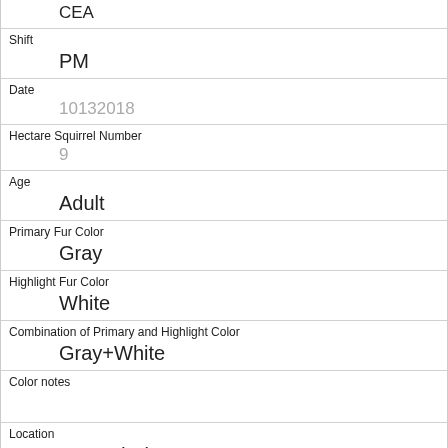Shift
PM
Date
10132018
Hectare Squirrel Number
9
Age
Adult
Primary Fur Color
Gray
Highlight Fur Color
White
Combination of Primary and Highlight Color
Gray+White
Color notes
Location
Ground Plane
Above Ground Sighter Measurement
FALSE